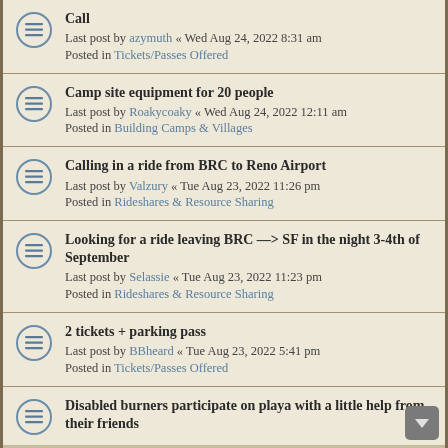Call
Last post by azymuth « Wed Aug 24, 2022 8:31 am
Posted in Tickets/Passes Offered
Camp site equipment for 20 people
Last post by Roakycoaky « Wed Aug 24, 2022 12:11 am
Posted in Building Camps & Villages
Calling in a ride from BRC to Reno Airport
Last post by Valzury « Tue Aug 23, 2022 11:26 pm
Posted in Rideshares & Resource Sharing
Looking for a ride leaving BRC —> SF in the night 3-4th of September
Last post by Selassie « Tue Aug 23, 2022 11:23 pm
Posted in Rideshares & Resource Sharing
2 tickets + parking pass
Last post by BBheard « Tue Aug 23, 2022 5:41 pm
Posted in Tickets/Passes Offered
Disabled burners participate on playa with a little help from their friends